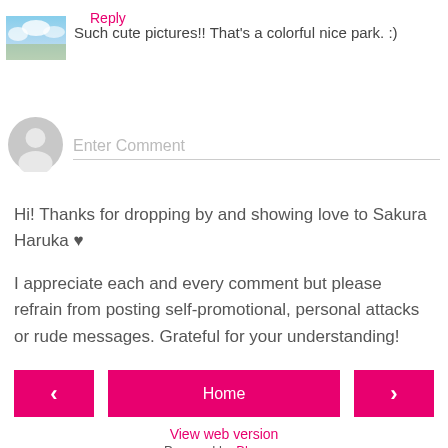[Figure (photo): Small thumbnail image of a colorful sky/park scene]
Such cute pictures!! That's a colorful nice park. :)
Reply
[Figure (illustration): Default grey user avatar circle icon]
Enter Comment
Hi! Thanks for dropping by and showing love to Sakura Haruka ♥
I appreciate each and every comment but please refrain from posting self-promotional, personal attacks or rude messages. Grateful for your understanding!
‹
Home
›
View web version
Powered by Blogger.